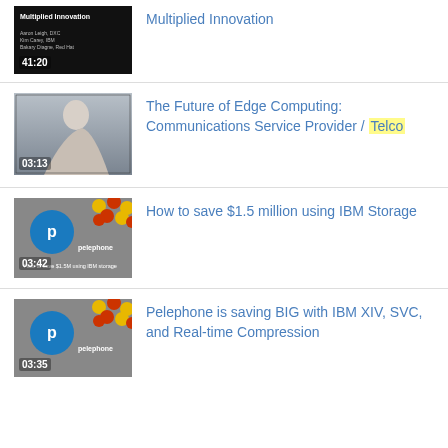[Figure (screenshot): Video thumbnail showing dark background with title 'Multiplied Innovation', duration 41:20]
Multiplied Innovation
[Figure (screenshot): Video thumbnail showing elderly man being interviewed, duration 03:13]
The Future of Edge Computing: Communications Service Provider / Telco
[Figure (screenshot): Video thumbnail showing Pelephone logo with decorative flowers, text 'How to save $1.5M using IBM storage', duration 03:42]
How to save $1.5 million using IBM Storage
[Figure (screenshot): Video thumbnail showing Pelephone logo, duration 03:35]
Pelephone is saving BIG with IBM XIV, SVC, and Real-time Compression